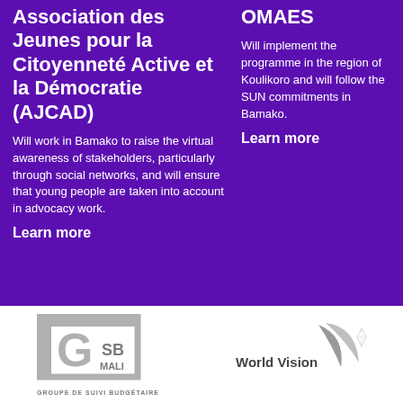Association des Jeunes pour la Citoyenneté Active et la Démocratie (AJCAD)
Will work in Bamako to raise the virtual awareness of stakeholders, particularly through social networks, and will ensure that young people are taken into account in advocacy work.
Learn more
OMAES
Will implement the programme in the region of Koulikoro and will follow the SUN commitments in Bamako.
Learn more
[Figure (logo): GSB Mali - Groupe de Suivi Budgétaire logo: white square bracket frame with large G and SB MALI text]
[Figure (logo): World Vision logo: stylized sail/diamond shapes in grey with World Vision text]